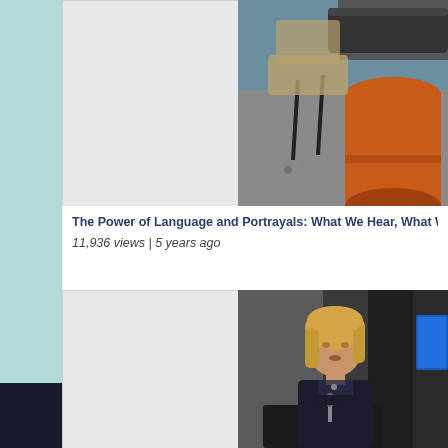[Figure (screenshot): Video thumbnail showing an empty conference room with an orange cylindrical furniture piece and chairs on carpet, left half is gray placeholder]
The Power of Language and Portrayals: What We Hear, What We See - Part 2: Tr
11,936 views | 5 years ago
[Figure (screenshot): Video thumbnail showing a blonde woman in a dark blazer sitting and speaking at a panel event, with a blue screen visible in the background right, left half is gray placeholder]